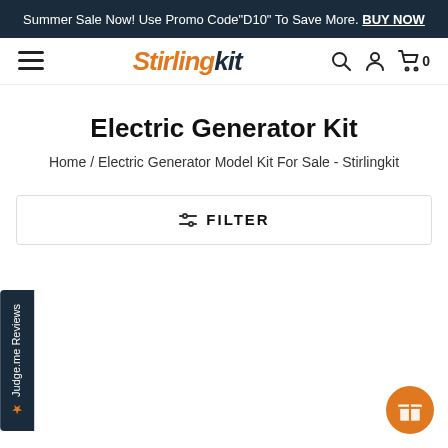Summer Sale Now! Use Promo Code"D10" To Save More. BUY NOW
[Figure (logo): Stirlingkit logo — 'Stirling' in orange italic bold, 'kit' in dark blue italic bold]
Electric Generator Kit
Home / Electric Generator Model Kit For Sale - Stirlingkit